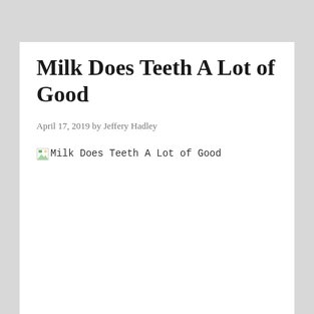Milk Does Teeth A Lot of Good
April 17, 2019 by Jeffery Hadley
[Figure (photo): Broken image placeholder with alt text 'Milk Does Teeth A Lot of Good']